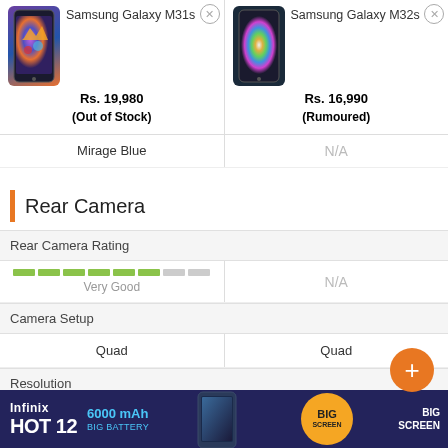| Samsung Galaxy M31s | Samsung Galaxy M32s |
| --- | --- |
| Rs. 19,980 (Out of Stock) | Rs. 16,990 (Rumoured) |
| Mirage Blue | N/A |
Rear Camera
| Rear Camera Rating |  |
| --- | --- |
| Very Good | N/A |
| Camera Setup |  |
| Quad | Quad |
| Resolution |  |
| 64 MP f/1.8 | 64 MP |
[Figure (infographic): Infinix HOT 12 advertisement banner showing 6000 mAh Big Battery and BIG SCREEN text with phone image]